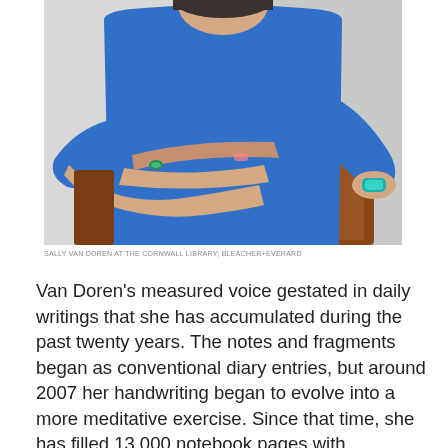[Figure (photo): A person wearing a blue long-sleeve sweatshirt seated on or near a brown leather couch, resting their arms and hands folded, wearing a teal watch on their wrist and a ring, photographed from the torso up with their face partially cropped at the top.]
SALLY VAN DOREN AT THE CORNWALL LIBRARY; BLEACHER+EVERARD
Van Doren's measured voice gestated in daily writings that she has accumulated during the past twenty years. The notes and fragments began as conventional diary entries, but around 2007 her handwriting began to evolve into a more meditative exercise. Since that time, she has filled 13,000 notebook pages with increasingly